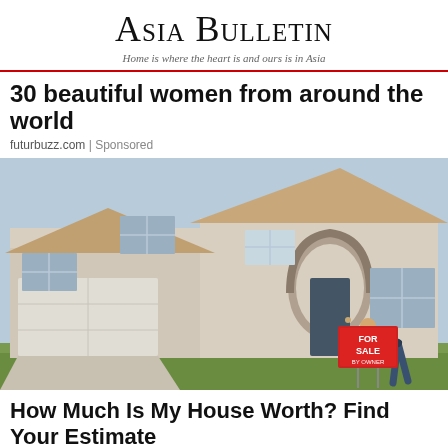Asia Bulletin — Home is where the heart is and ours is in Asia
30 beautiful women from around the world
futurbuzz.com | Sponsored
[Figure (photo): A two-story stucco suburban house with a stone-arched front entry, two-car garage, and a person bending down to place a red FOR SALE BY OWNER sign in the front yard.]
How Much Is My House Worth? Find Your Estimate